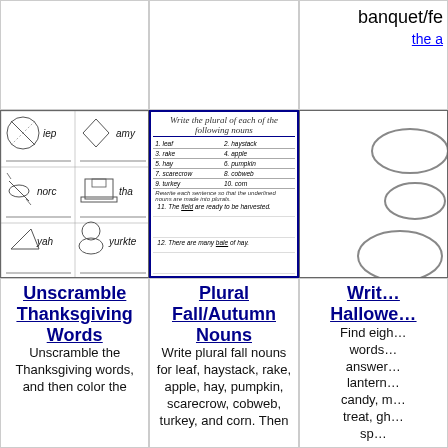banquet/fe
the a
[Figure (illustration): Unscramble Thanksgiving Words worksheet with pictures of fall/Thanksgiving items and scrambled words: iep, amy, norc, tha, yah, yurkte, Iiannds, igPlmris, nuccoopria, ppkinum]
[Figure (illustration): Plural Fall/Autumn Nouns worksheet with numbered items: 1. leaf, 2. haystack, 3. rake, 4. apple, 5. hay, 6. pumpkin, 7. scarecrow, 8. cobweb, 9. turkey, 10. corn and sentences 11-15 to rewrite with plural nouns]
[Figure (illustration): Halloween worksheet with oval shapes arranged in a cluster pattern]
Unscramble Thanksgiving Words
Unscramble the Thanksgiving words, and then color the
Plural Fall/Autumn Nouns
Write plural fall nouns for leaf, haystack, rake, apple, hay, pumpkin, scarecrow, cobweb, turkey, and corn. Then
Writ… Hallowe…
Find eigh… words… answer… lantern… candy, m… treat, gh… sp…